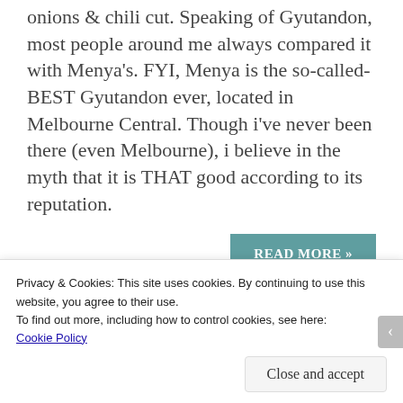onions & chili cut. Speaking of Gyutandon, most people around me always compared it with Menya's. FYI, Menya is the so-called-BEST Gyutandon ever, located in Melbourne Central. Though i've never been there (even Melbourne), i believe in the myth that it is THAT good according to its reputation.
READ MORE »
Shareable at your :
[Figure (infographic): Social media sharing icons: Facebook (blue circle), Twitter (light blue circle), Pinterest (red circle), Tumblr (dark blue circle), LinkedIn (blue circle)]
Privacy & Cookies: This site uses cookies. By continuing to use this website, you agree to their use.
To find out more, including how to control cookies, see here:
Cookie Policy
Close and accept